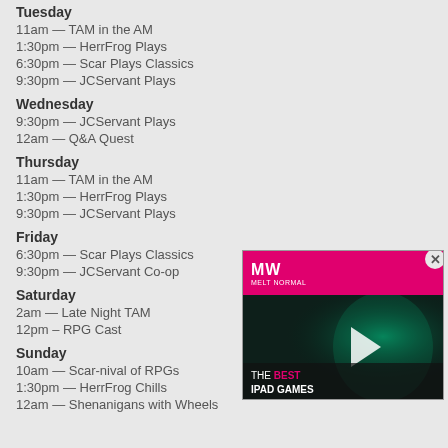Tuesday
11am — TAM in the AM
1:30pm — HerrFrog Plays
6:30pm — Scar Plays Classics
9:30pm — JCServant Plays
Wednesday
9:30pm — JCServant Plays
12am — Q&A Quest
Thursday
11am — TAM in the AM
1:30pm — HerrFrog Plays
9:30pm — JCServant Plays
Friday
6:30pm — Scar Plays Classics
9:30pm — JCServant Co-op
Saturday
2am — Late Night TAM
12pm – RPG Cast
Sunday
10am — Scar-nival of RPGs
1:30pm — HerrFrog Chills
12am — Shenanigans with Wheels
[Figure (screenshot): Video advertisement overlay with MW (MetaWorth) logo on pink banner, game character image, play button, and text 'THE BEST IPAD GAMES']